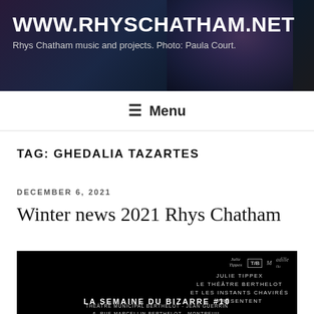WWW.RHYSCHATHAM.NET
Rhys Chatham music and projects. Photo: Paula Court.
≡ Menu
TAG: GHEDALIA TAZARTES
DECEMBER 6, 2021
Winter news 2021 Rhys Chatham
[Figure (photo): Black event poster for La Semaine du Bizarre #10. Logos for Julie Tippex, Théâtre Berthelot, and others in top right. Text reads: JULIE TIPPEX / LE THÉÂTRE BERTHELOT / ET LES INSTANTS CHAVIRÉS / PRÉSENTENT / LA SEMAINE DU BIZARRE #10 / THÉÂTRE MUNICIPAL BERTHELOT - JEAN GUERRIN / 6, RUE MARCELLIN BERTHELOT - MONTREUIL]